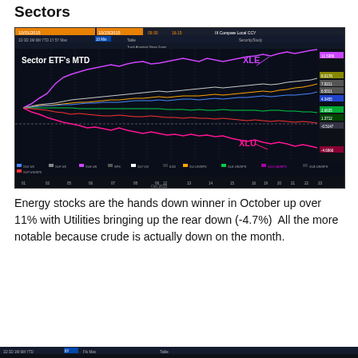Sectors
[Figure (line-chart): Bloomberg terminal screenshot showing Sector ETF's MTD (Month-to-Date) performance for October 2015. Multiple colored lines representing different sector ETFs: XLE (energy, magenta/pink, top ~+11%), XLU (utilities, magenta, bottom ~-4.7%), and other sectors (XLV, XLF, XLK, XLY, XLB, XLI, XLU) in various colors. Date range 10/01/2015 to 10/23/2015. X-axis shows Oct 2015 dates (01-23). Y-axis shows percentage change. Labels XLE and XLU with arrows visible on chart.]
Energy stocks are the hands down winner in October up over 11% with Utilities bringing up the rear down (-4.7%)  All the more notable because crude is actually down on the month.